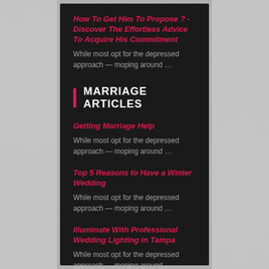How To Get Him To Propose ? - Discover The Effortless Advice To Acquire His Commitment
While most opt for the depressed approach — moping around …
MARRIAGE ARTICLES
Getting Marriage Help
While most opt for the depressed approach — moping around …
Top 5 Reasons to Have a Winter Wedding
While most opt for the depressed approach — moping around …
Illuminate With Professional Wedding Lighting in Tampa
While most opt for the depressed approach — moping around …